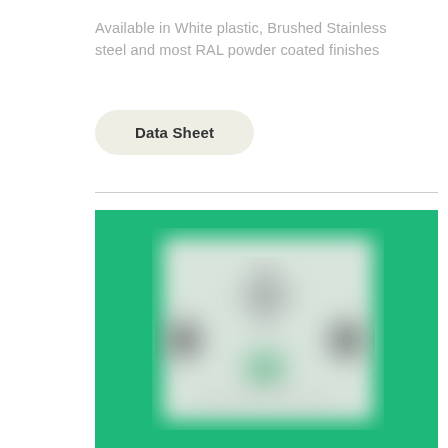Available in White plastic, Brushed Stainless steel and most RAL powder coated finishes
Data Sheet
[Figure (photo): A white electrical socket/switch plate product shown against a green background. The white square panel has a data port connector visible in the center, with two circular mounting points on the left and right sides. The image is blurred/out of focus.]